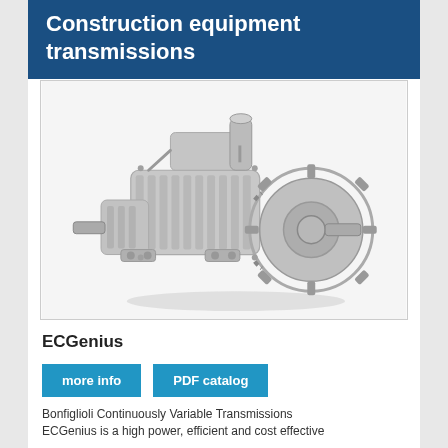Construction equipment transmissions
[Figure (photo): Photo of a Bonfiglioli ECGenius continuously variable transmission unit — a complex mechanical assembly with gears, chain drive, and casing, rendered in light gray]
ECGenius
more info
PDF catalog
Bonfiglioli Continuously Variable Transmissions ECGenius is a high power, efficient and cost effective